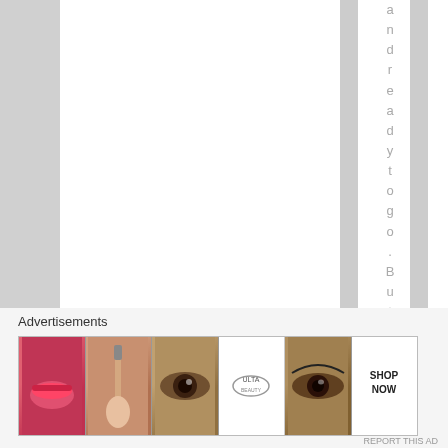a n d r e a d y t o g o . B u t t
Advertisements
[Figure (photo): Ulta Beauty advertisement banner showing makeup-related images including lips with lipstick, makeup brush, eye with makeup, Ulta Beauty logo, eye close-up, and SHOP NOW text on white background]